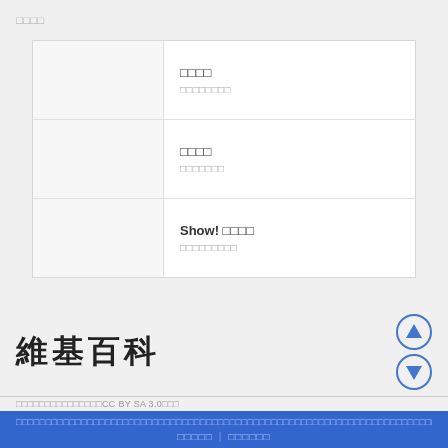□□□□
| □□□□ | □□□□□□□□ |
| □□□□ | □□□□□□□ |
| Show! □□□□ | □□□□□□□□□ |
維基百科
□□□□□□□□□□□□□□□CC BY SA 3.0□□□
□□□□□ | □□□□□□